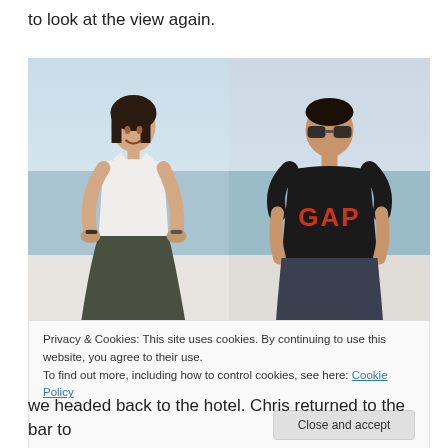to look at the view again.
[Figure (photo): Two side-by-side photos taken in Santorini. Left: a woman in a white tank top and dark pants sits smiling on a white wall with the sea and an island in the background. Right: a man wearing a black GAP t-shirt and sunglasses stands in front of the same sea view.]
Privacy & Cookies: This site uses cookies. By continuing to use this website, you agree to their use.
To find out more, including how to control cookies, see here: Cookie Policy
Close and accept
we headed back to the hotel. Chris returned to the bar to